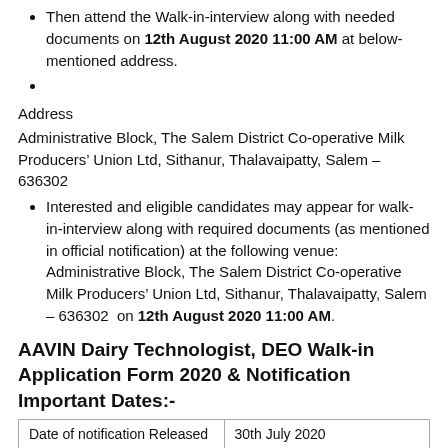Go through the Recruitment Instructions definitely
Then attend the Walk-in-interview along with needed documents on 12th August 2020 11:00 AM at below-mentioned address.
Address
Administrative Block, The Salem District Co-operative Milk Producers’ Union Ltd, Sithanur, Thalavaipatty, Salem – 636302
Interested and eligible candidates may appear for walk-in-interview along with required documents (as mentioned in official notification) at the following venue: Administrative Block, The Salem District Co-operative Milk Producers’ Union Ltd, Sithanur, Thalavaipatty, Salem – 636302  on 12th August 2020 11:00 AM.
AAVIN Dairy Technologist, DEO Walk-in Application Form 2020 & Notification Important Dates:-
| Date of notification Released | 30th July 2020 |
| --- | --- |
| Walk-In Date | 12th August 2020 11:00 AM |